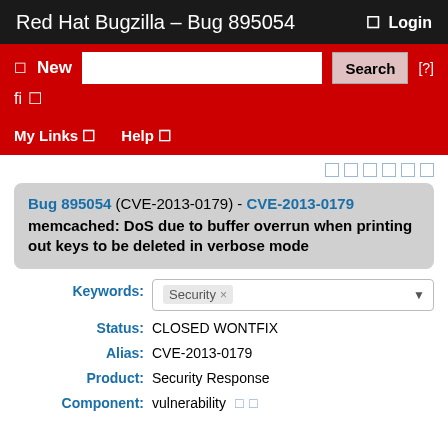Red Hat Bugzilla – Bug 895054   Login
New  [search bar]  Search  [?]
fi  My Links  Help
Bug 895054 (CVE-2013-0179) - CVE-2013-0179 memcached: DoS due to buffer overrun when printing out keys to be deleted in verbose mode
Keywords: Security
Status: CLOSED WONTFIX
Alias: CVE-2013-0179
Product: Security Response
Component: vulnerability